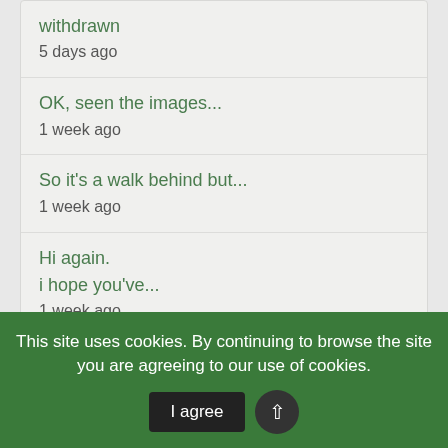withdrawn
5 days ago
OK, seen the images...
1 week ago
So it's a walk behind but...
1 week ago
Hi again.
i hope you've...
1 week ago
User Menu
This site uses cookies. By continuing to browse the site you are agreeing to our use of cookies.